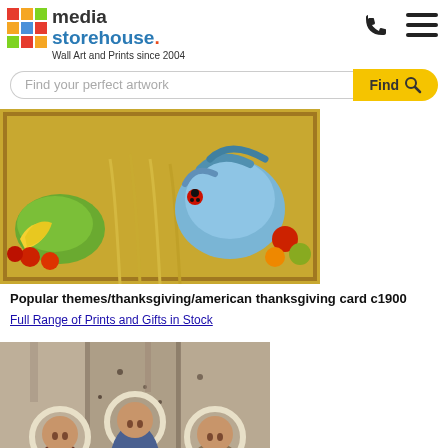[Figure (logo): Media Storehouse logo with colorful grid icon, text 'media storehouse.' and tagline 'Wall Art and Prints since 2004']
[Figure (other): Phone icon and hamburger menu icon in the header]
[Figure (screenshot): Search bar with placeholder 'Find your perfect artwork' and yellow 'Find' button with magnifying glass icon]
[Figure (photo): American thanksgiving card circa 1900 showing fruits, wheat, rooster/turkey with colorful harvest scene]
Popular themes/thanksgiving/american thanksgiving card c1900
Full Range of Prints and Gifts in Stock
[Figure (photo): Religious icon painting showing angels with halos, appears to be a damaged/aged medieval Russian Orthodox icon, Trinity by Andrei Rublev style]